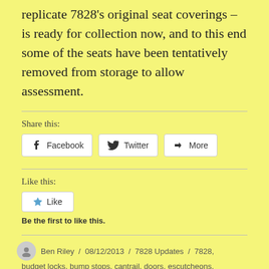replicate 7828's original seat coverings – is ready for collection now, and to this end some of the seats have been tentatively removed from storage to allow assessment.
Share this:
[Figure (other): Social share buttons: Facebook, Twitter, More]
Like this:
[Figure (other): Like button widget]
Be the first to like this.
Ben Riley / 08/12/2013 / 7828 Updates / 7828, budget locks, bump stops, cantrail, doors, escutcheons,